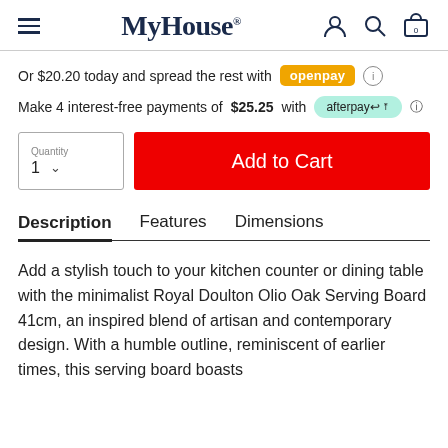MyHouse (navigation bar with hamburger, logo, user, search, cart icons)
Or $20.20 today and spread the rest with openpay ⓘ
Make 4 interest-free payments of $25.25 with afterpay ℹ
Quantity 1 ∨  [Add to Cart]
Description   Features   Dimensions
Add a stylish touch to your kitchen counter or dining table with the minimalist Royal Doulton Olio Oak Serving Board 41cm, an inspired blend of artisan and contemporary design. With a humble outline, reminiscent of earlier times, this serving board boasts